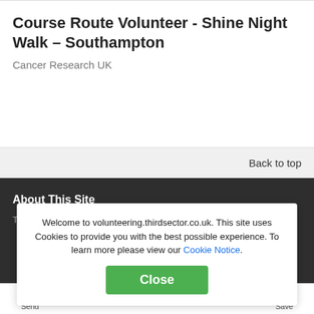Course Route Volunteer - Shine Night Walk – Southampton
Cancer Research UK
Back to top
About This Site
Terms & Conditions
Welcome to volunteering.thirdsector.co.uk. This site uses Cookies to provide you with the best possible experience. To learn more please view our Cookie Notice.
Close
Send  Save